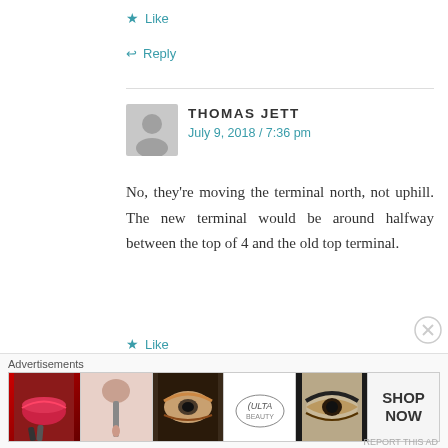★ Like
↩ Reply
THOMAS JETT
July 9, 2018 / 7:36 pm
No, they're moving the terminal north, not uphill. The new terminal would be around halfway between the top of 4 and the old top terminal.
★ Like
↩ Reply
[Figure (screenshot): Advertisements banner with Ulta Beauty ad showing makeup product images and SHOP NOW button]
Advertisements